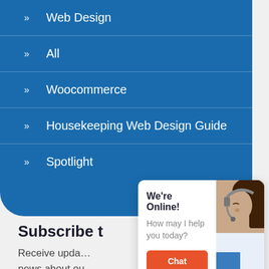» Web Design
» All
» Woocommerce
» Housekeeping Web Design Guide
» Spotlight
[Figure (screenshot): Chat widget popup with 'We're Online!' heading, 'How may I help you today?' subtext, an orange 'Chat now' button, and a photo of a woman with a headset]
Subscribe t
Receive upda… news about ou…